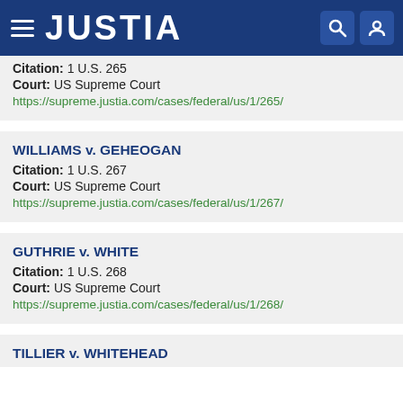JUSTIA
Citation: 1 U.S. 265
Court: US Supreme Court
https://supreme.justia.com/cases/federal/us/1/265/
WILLIAMS v. GEHEOGAN
Citation: 1 U.S. 267
Court: US Supreme Court
https://supreme.justia.com/cases/federal/us/1/267/
GUTHRIE v. WHITE
Citation: 1 U.S. 268
Court: US Supreme Court
https://supreme.justia.com/cases/federal/us/1/268/
TILLIER v. WHITEHEAD